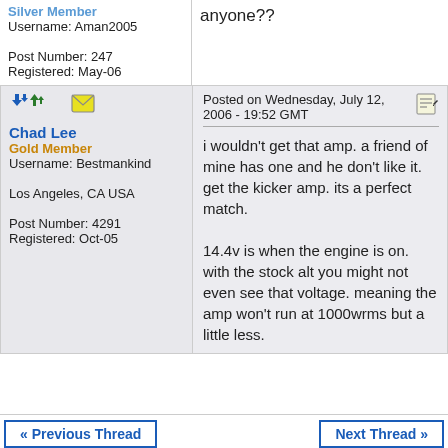Silver Member
Username: Aman2005

Post Number: 247
Registered: May-06
anyone??
[Figure (other): Forum navigation icons: up/down arrows and email/folder icons]
Chad Lee
Gold Member
Username: Bestmankind
Los Angeles, CA USA
Post Number: 4291
Registered: Oct-05
Posted on Wednesday, July 12, 2006 - 19:52 GMT
i wouldn't get that amp. a friend of mine has one and he don't like it. get the kicker amp. its a perfect match.

14.4v is when the engine is on. with the stock alt you might not even see that voltage. meaning the amp won't run at 1000wrms but a little less.
« Previous Thread
Next Thread »